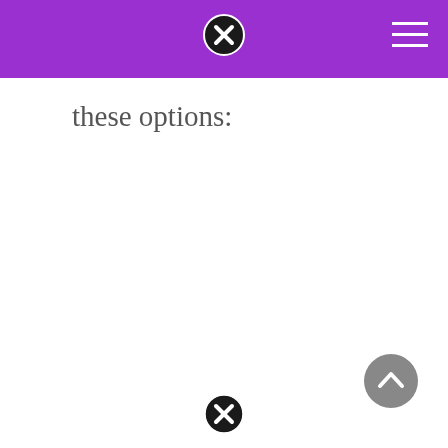these options:
[Figure (other): Scroll-to-top button: grey circle with white upward chevron arrow, bottom-right corner]
[Figure (other): Close button (X in black circle) at bottom center of page]